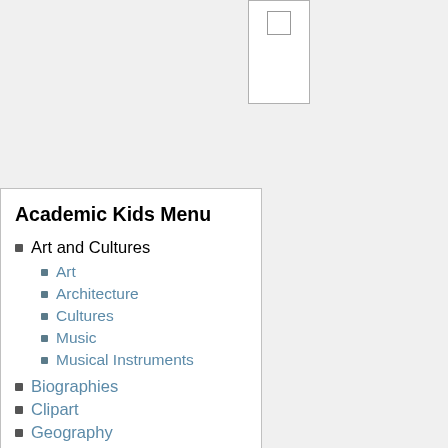[Figure (other): Small checkbox/form element — white rectangle with a small square outline at top center]
Academic Kids Menu
Art and Cultures
Art
Architecture
Cultures
Music
Musical Instruments
Biographies
Clipart
Geography